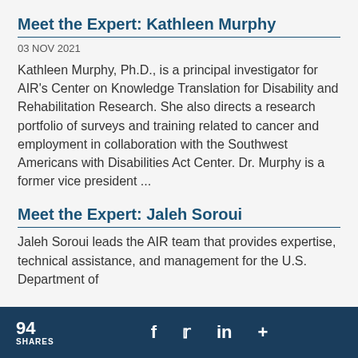Meet the Expert: Kathleen Murphy
03 NOV 2021
Kathleen Murphy, Ph.D., is a principal investigator for AIR’s Center on Knowledge Translation for Disability and Rehabilitation Research. She also directs a research portfolio of surveys and training related to cancer and employment in collaboration with the Southwest Americans with Disabilities Act Center. Dr. Murphy is a former vice president ...
Meet the Expert: Jaleh Soroui
Jaleh Soroui leads the AIR team that provides expertise, technical assistance, and management for the U.S. Department of
94 SHARES  f  𝐞  in  +